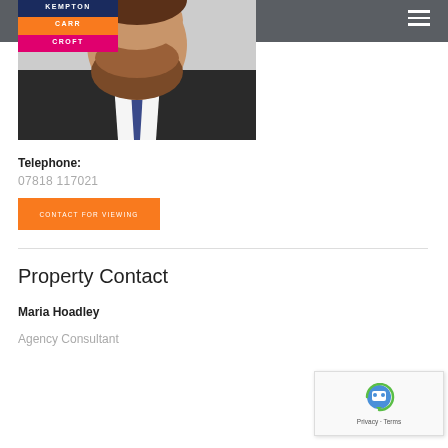KEMPTON CARR CROFT
[Figure (photo): Partial photo of a man with a beard wearing a suit and tie, cropped to show chin and torso]
Telephone:
07818 117021
CONTACT FOR VIEWING
Property Contact
Maria Hoadley
Agency Consultant
[Figure (other): reCAPTCHA widget with robot icon and Privacy - Terms text]